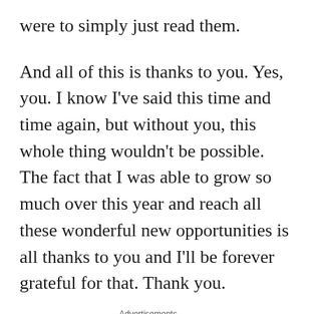were to simply just read them.
And all of this is thanks to you. Yes, you. I know I've said this time and time again, but without you, this whole thing wouldn't be possible. The fact that I was able to grow so much over this year and reach all these wonderful new opportunities is all thanks to you and I'll be forever grateful for that. Thank you.
Advertisements
[Figure (screenshot): Jetpack advertisement banner on green background with logo and 'We guard your' tagline text]